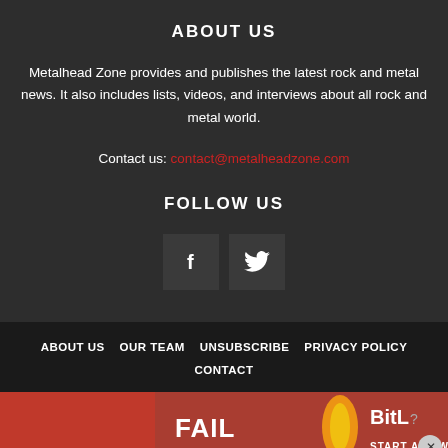ABOUT US
Metalhead Zone provides and publishes the latest rock and metal news. It also includes lists, videos, and interviews about all rock and metal world.
Contact us: contact@metalheadzone.com
FOLLOW US
[Figure (other): Social media icons: Facebook (f) and Twitter (bird) in dark square buttons]
ABOUT US  OUR TEAM  UNSUBSCRIBE  PRIVACY POLICY  CONTACT
[Figure (photo): BitLife advertisement banner with fail text and animated characters]